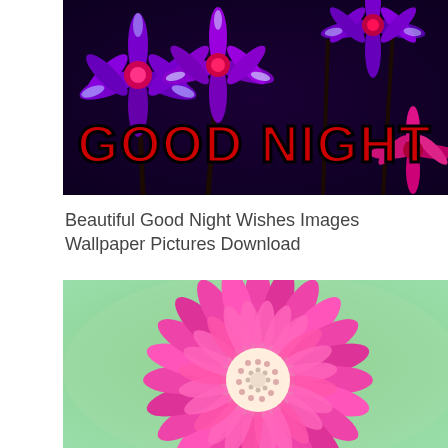[Figure (photo): Purple daisy flowers with text overlay reading GOOD NIGHT in large dark red/black bold letters]
Beautiful Good Night Wishes Images Wallpaper Pictures Download
[Figure (photo): Close-up of a pink gerbera daisy flower on a green background]